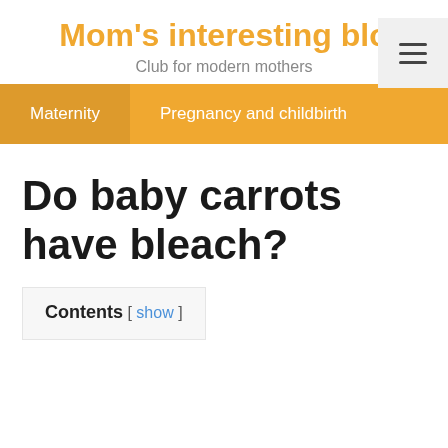Mom's interesting blo
Club for modern mothers
Do baby carrots have bleach?
Contents [ show ]